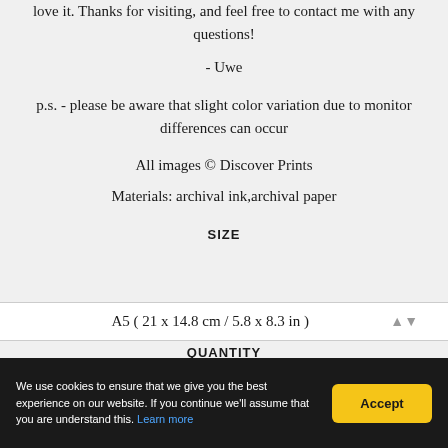love it. Thanks for visiting, and feel free to contact me with any questions!
- Uwe
p.s. - please be aware that slight color variation due to monitor differences can occur
All images © Discover Prints
Materials: archival ink,archival paper
SIZE
A5 ( 21 x 14.8 cm / 5.8 x 8.3 in )
QUANTITY
We use cookies to ensure that we give you the best experience on our website. If you continue we'll assume that you are understand this. Learn more